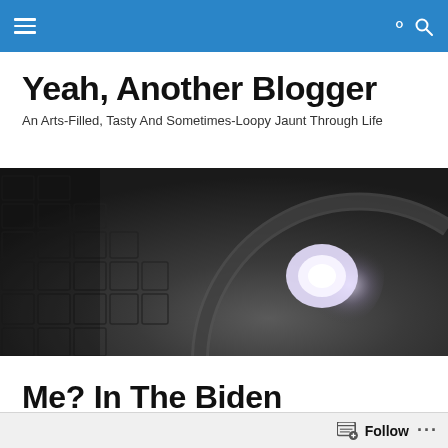Yeah, Another Blogger navigation bar
Yeah, Another Blogger
An Arts-Filled, Tasty And Sometimes-Loopy Jaunt Through Life
[Figure (photo): Interior architectural photo of a domed ceiling with coffered squares and a circular oculus letting in bright light, similar to the Pantheon in Rome. Black and white / desaturated tones.]
Me? In The Biden Administration? We Should...